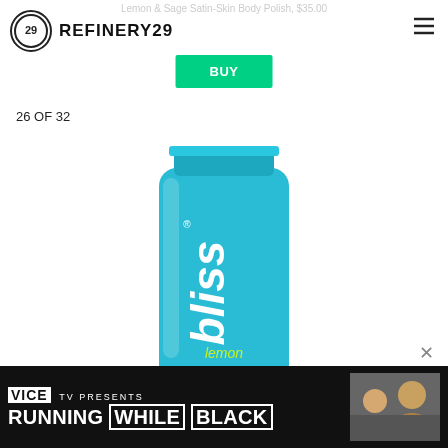Lemon & Sage Satin-Skin Body Polish, $35.00
[Figure (logo): Refinery29 logo with circled 29 icon and REFINERY29 text]
[Figure (screenshot): Green BUY button]
26 OF 32
[Figure (photo): Bliss lemon & sage body polish product tube in teal/cyan color]
[Figure (photo): VICE TV Presents: Running While Black advertisement banner with photo of people running]